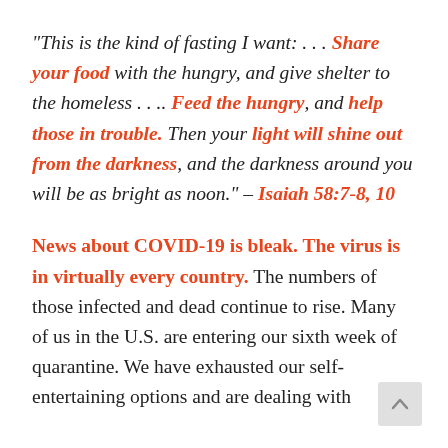“This is the kind of fasting I want: . . . Share your food with the hungry, and give shelter to the homeless . . .. Feed the hungry, and help those in trouble. Then your light will shine out from the darkness, and the darkness around you will be as bright as noon.” – Isaiah 58:7-8, 10
News about COVID-19 is bleak. The virus is in virtually every country. The numbers of those infected and dead continue to rise. Many of us in the U.S. are entering our sixth week of quarantine. We have exhausted our self-entertaining options and are dealing with